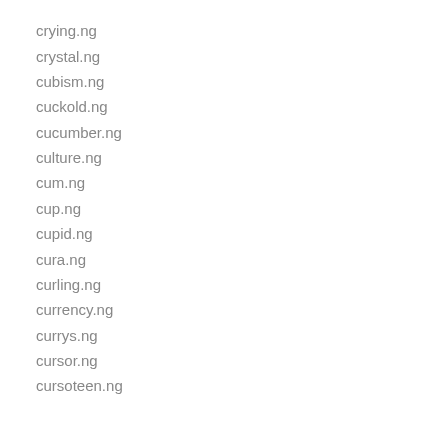crying.ng
crystal.ng
cubism.ng
cuckold.ng
cucumber.ng
culture.ng
cum.ng
cup.ng
cupid.ng
cura.ng
curling.ng
currency.ng
currys.ng
cursor.ng
cursoteen.ng